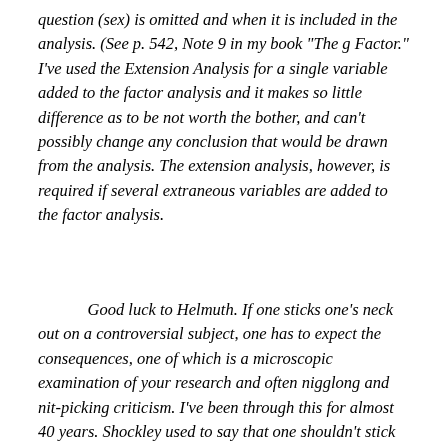question (sex) is omitted and when it is included in the analysis. (See p. 542, Note 9 in my book "The g Factor." I've used the Extension Analysis for a single variable added to the factor analysis and it makes so little difference as to be not worth the bother, and can't possibly change any conclusion that would be drawn from the analysis. The extension analysis, however, is required if several extraneous variables are added to the factor analysis.
Good luck to Helmuth. If one sticks one's neck out on a controversial subject, one has to expect the consequences, one of which is a microscopic examination of your research and often nigglong and nit-picking criticism. I've been through this for almost 40 years. Shockley used to say that one shouldn't stick one's neck out on eugenics unless you have a Nobel Prize and at least a